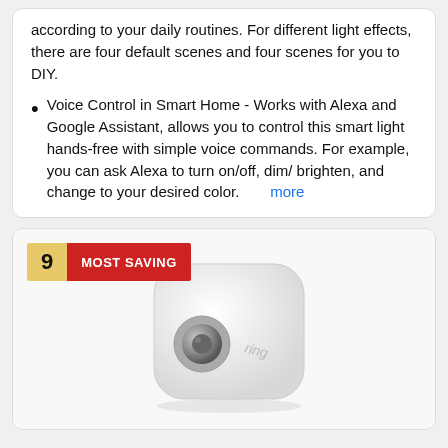according to your daily routines. For different light effects, there are four default scenes and four scenes for you to DIY.
Voice Control in Smart Home - Works with Alexa and Google Assistant, allows you to control this smart light hands-free with simple voice commands. For example, you can ask Alexa to turn on/off, dim/ brighten, and change to your desired color. more
9 MOST SAVING
[Figure (photo): Ring smart home device - white rounded square shaped device with 'ring' text visible, product photo on light background]